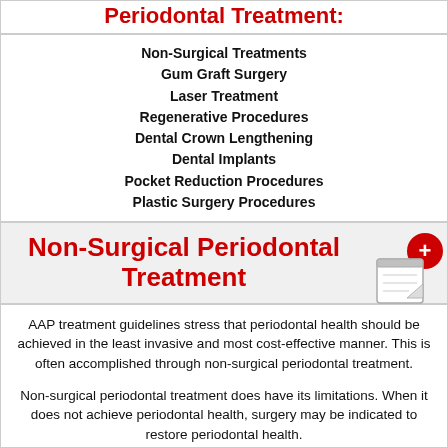Periodontal Treatment:
Non-Surgical Treatments
Gum Graft Surgery
Laser Treatment
Regenerative Procedures
Dental Crown Lengthening
Dental Implants
Pocket Reduction Procedures
Plastic Surgery Procedures
Non-Surgical Periodontal Treatment
AAP treatment guidelines stress that periodontal health should be achieved in the least invasive and most cost-effective manner. This is often accomplished through non-surgical periodontal treatment.
Non-surgical periodontal treatment does have its limitations. When it does not achieve periodontal health, surgery may be indicated to restore periodontal health.